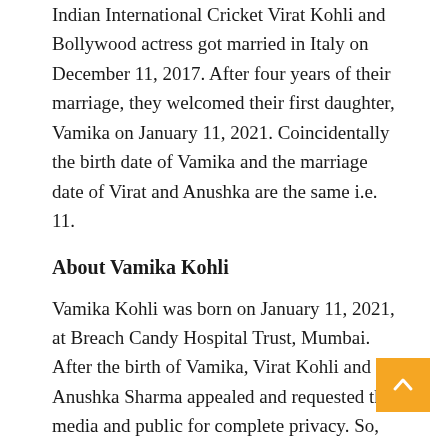Indian International Cricket Virat Kohli and Bollywood actress got married in Italy on December 11, 2017. After four years of their marriage, they welcomed their first daughter, Vamika on January 11, 2021. Coincidentally the birth date of Vamika and the marriage date of Virat and Anushka are the same i.e. 11.
About Vamika Kohli
Vamika Kohli was born on January 11, 2021, at Breach Candy Hospital Trust, Mumbai. After the birth of Vamika, Virat Kohli and Anushka Sharma appealed and requested the media and public for complete privacy. So, respecting their privacy, there were no photos of Vamika on the internet for around a year.
After one year, Vamika's first picture went viral on